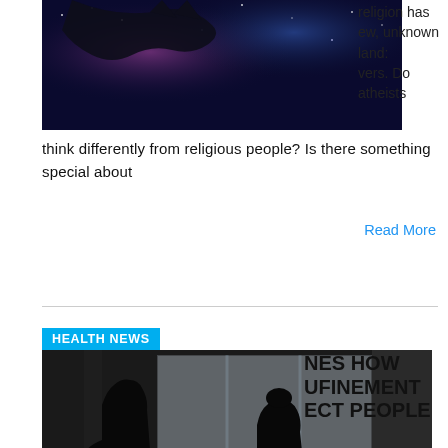[Figure (photo): Space/galaxy image with cat silhouette, dark blue tones with purple nebula]
religion has ew, unknown land: vers. Do atheists think differently from religious people? Is there something special about
Read More
[Figure (photo): Two children silhouetted against a large window, looking outside, dark interior]
HEALTH NEWS
NES HOW UFINEMENT ECT PEOPLE
aculty of n and Social ned a second HERE study. It of a comprehensive survey to
Read More